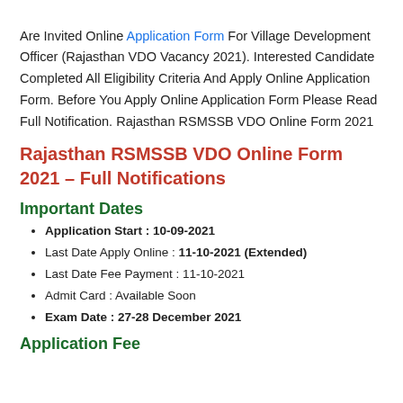Are Invited Online Application Form For Village Development Officer (Rajasthan VDO Vacancy 2021). Interested Candidate Completed All Eligibility Criteria And Apply Online Application Form. Before You Apply Online Application Form Please Read Full Notification. Rajasthan RSMSSB VDO Online Form 2021
Rajasthan RSMSSB VDO Online Form 2021 – Full Notifications
Important Dates
Application Start : 10-09-2021
Last Date Apply Online : 11-10-2021 (Extended)
Last Date Fee Payment : 11-10-2021
Admit Card : Available Soon
Exam Date : 27-28 December 2021
Application Fee